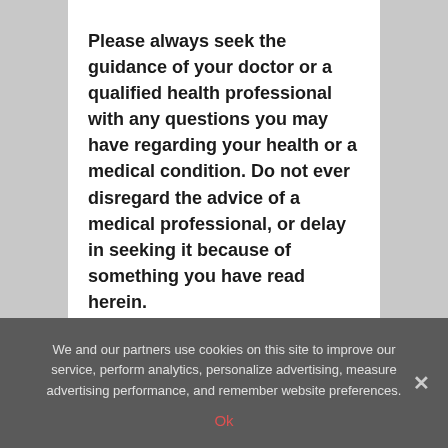Please always seek the guidance of your doctor or a qualified health professional with any questions you may have regarding your health or a medical condition. Do not ever disregard the advice of a medical professional, or delay in seeking it because of something you have read herein.
If you believe you may have a medical or mental health emergency, please call your doctor, go to the nearest hospital, or call
We and our partners use cookies on this site to improve our service, perform analytics, personalize advertising, measure advertising performance, and remember website preferences.
Ok